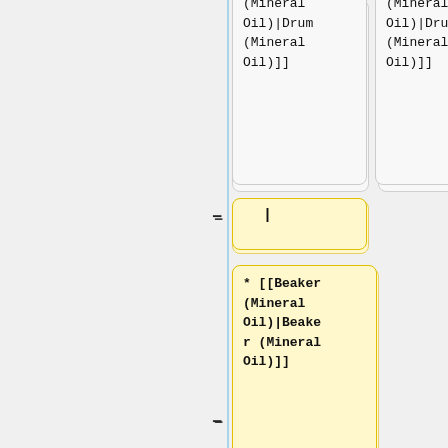(Mineral Oil)|Drum (Mineral Oil)]]
(Mineral Oil)|Drum (Mineral Oil)]]
- |
* [[Beaker (Mineral Oil)|Beaker (Mineral Oil)]]
| {{Inventory| {{Inventory/Slot|index=0|title=Drum (Mineral Oil)|image=Vessel_dr
| {{Inventory| {{Inventory/Slot|index=0|title=Drum (Mineral Oil)|image=Vessel_dr